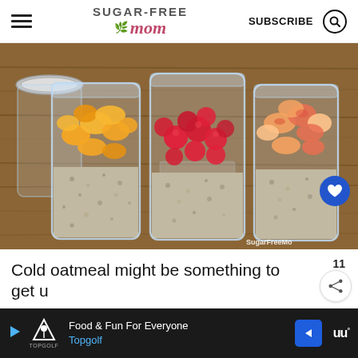Sugar-Free Mom — SUBSCRIBE
[Figure (photo): Three mason jars filled with overnight oats and topped with fresh fruit — orange/mango slices, red raspberries, and peach/apple slices — sitting on a rustic wooden table. Watermark reads 'SugarFreeMom'.]
Cold oatmeal might be something to get u...
Food & Fun For Everyone
Topgolf